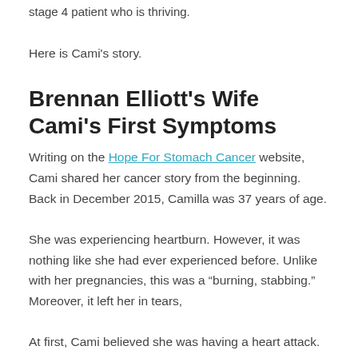stage 4 patient who is thriving.
Here is Cami's story.
Brennan Elliott's Wife Cami's First Symptoms
Writing on the Hope For Stomach Cancer website, Cami shared her cancer story from the beginning. Back in December 2015, Camilla was 37 years of age.
She was experiencing heartburn. However, it was nothing like she had ever experienced before. Unlike with her pregnancies, this was a “burning, stabbing.” Moreover, it left her in tears,
At first, Cami believed she was having a heart attack. She was referred to both a cardiologist and a